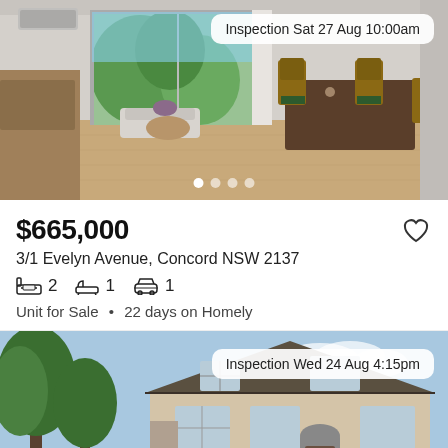[Figure (photo): Interior photo of apartment living/dining room with timber floor, dining table and chairs, sofa visible near sliding glass door to balcony with garden view. Air conditioning unit on wall.]
Inspection Sat 27 Aug 10:00am
$665,000
3/1 Evelyn Avenue, Concord NSW 2137
2 bedrooms, 1 bathroom, 1 car space
Unit for Sale  •  22 days on Homely
[Figure (photo): Exterior photo of two-storey house with rendered walls, tiled roof, surrounded by tall trees and garden, blue sky background.]
Inspection Wed 24 Aug 4:15pm
Save search